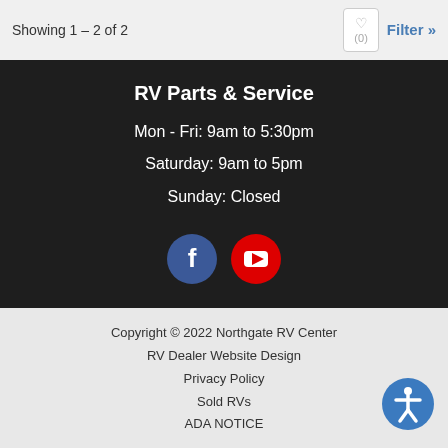Showing 1 – 2 of 2
RV Parts & Service
Mon - Fri: 9am to 5:30pm
Saturday: 9am to 5pm
Sunday: Closed
[Figure (illustration): Facebook and YouTube social media icon buttons]
Copyright © 2022 Northgate RV Center
RV Dealer Website Design
Privacy Policy
Sold RVs
ADA NOTICE